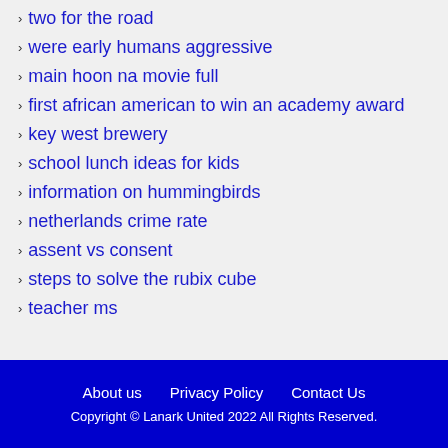two for the road
were early humans aggressive
main hoon na movie full
first african american to win an academy award
key west brewery
school lunch ideas for kids
information on hummingbirds
netherlands crime rate
assent vs consent
steps to solve the rubix cube
teacher ms
About us   Privacy Policy   Contact Us
Copyright © Lanark United 2022 All Rights Reserved.